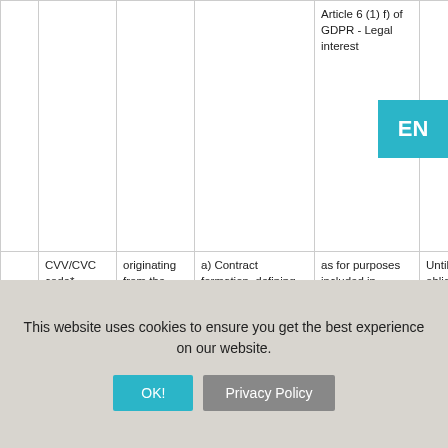|  |  | originating from the concerned (person) | a) Contract formation, defining its contents, its amendment, its performance
b) User identification
c) Enforcing claims and enforcement | as for purposes included in column D, a) and b):
execution of contracts as specified in Article | Until legal obligations and legal intetest persist. |
| --- | --- | --- | --- | --- | --- |
|  |  |  | Article 6 (1) f) of GDPR - Legal interest |  |  |
|  | CVV/CVC code* | originating from the concerned (person) | a) Contract formation, defining its contents, its amendment, its performance
b) User identification
c) Enforcing claims and enforcement | as for purposes included in column D, a) and b):
execution of contracts as specified in Article | Until legal obligations and legal intetest persist. |
This website uses cookies to ensure you get the best experience on our website.
OK!
Privacy Policy